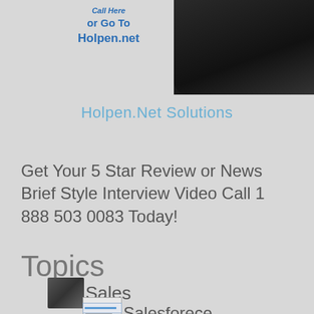[Figure (photo): Top section with blue bold italic text on left reading 'or Go To Holpen.net' and a dark-clothed person photo on the right]
Holpen.Net Solutions
Get Your 5 Star Review or News Brief Style Interview Video Call 1 888 503 0083 Today!
Topics
Sales
Salesforece